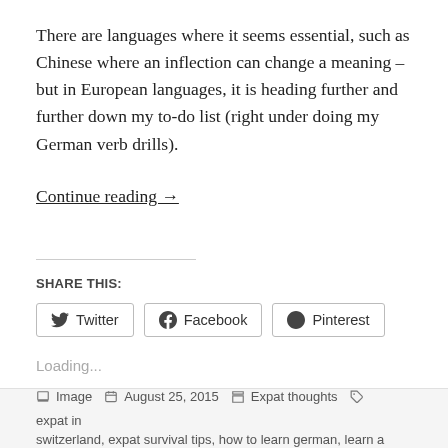There are languages where it seems essential, such as Chinese where an inflection can change a meaning – but in European languages, it is heading further and further down my to-do list (right under doing my German verb drills).
Continue reading →
SHARE THIS:
Twitter  Facebook  Pinterest
Loading...
Image  August 25, 2015  Expat thoughts  expat in switzerland, expat survival tips, how to learn german, learn a